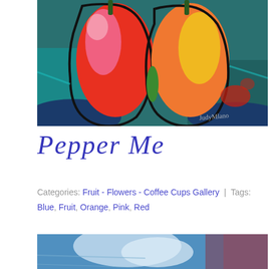[Figure (photo): A colorful expressionist painting of peppers with red, orange, pink, yellow and teal/blue colors. Two bell pepper shapes dominate the center, with teal blue background and an artist's signature visible in lower right.]
Pepper Me
Categories: Fruit - Flowers - Coffee Cups Gallery | Tags: Blue, Fruit, Orange, Pink, Red
[Figure (photo): Partial view of another colorful painting with blue, white, and red tones at the bottom of the page.]